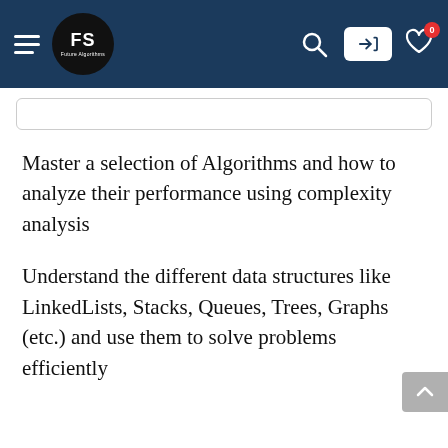FS — Future Algorithms navigation bar
Master a selection of Algorithms and how to analyze their performance using complexity analysis
Understand the different data structures like LinkedLists, Stacks, Queues, Trees, Graphs (etc.) and use them to solve problems efficiently